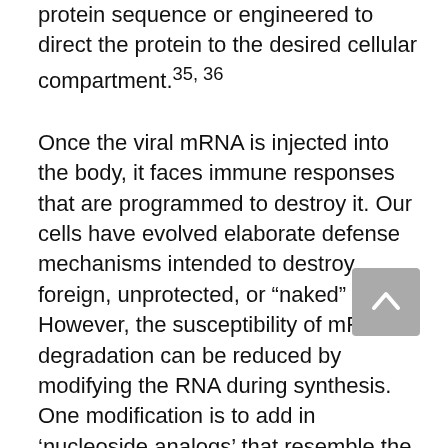protein sequence or engineered to direct the protein to the desired cellular compartment.35, 36
Once the viral mRNA is injected into the body, it faces immune responses that are programmed to destroy it. Our cells have evolved elaborate defense mechanisms intended to destroy foreign, unprotected, or “naked” RNA. However, the susceptibility of mRNA to degradation can be reduced by modifying the RNA during synthesis. One modification is to add in ‘nucleoside analogs’ that resemble the normal nucleosides found within RNA (A, U, C and G,) but have minor structural changes that make the RNA more resistant to enzyme degradation